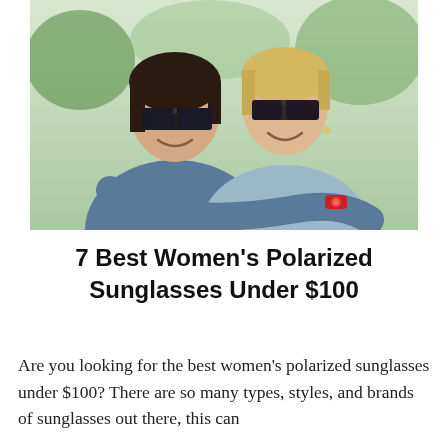[Figure (photo): Two women wearing dark sunglasses smiling and embracing outdoors. One has dark hair wearing a denim shirt, the other has blonde hair. One is wearing a red watch.]
7 Best Women's Polarized Sunglasses Under $100
Are you looking for the best women's polarized sunglasses under $100? There are so many types, styles, and brands of sunglasses out there, this can